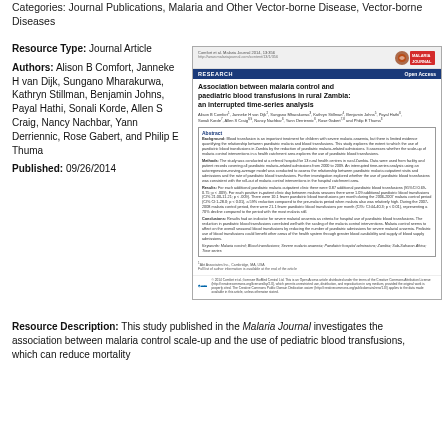Categories: Journal Publications, Malaria and Other Vector-borne Disease, Vector-borne Diseases
Resource Type: Journal Article
Authors: Alison B Comfort, Janneke H van Dijk, Sungano Mharakurwa, Kathryn Stillman, Benjamin Johns, Payal Hathi, Sonali Korde, Allen S Craig, Nancy Nachbar, Yann Derriennic, Rose Gabert, and Philip E Thuma
Published: 09/26/2014
[Figure (screenshot): Thumbnail image of a journal article from Malaria Journal titled 'Association between malaria control and paediatric blood transfusions in rural Zambia: an interrupted time-series analysis'. Shows abstract, authors, and BioMed Central open access logo.]
Resource Description: This study published in the Malaria Journal investigates the association between malaria control scale-up and the use of pediatric blood transfusions, which can reduce mortality